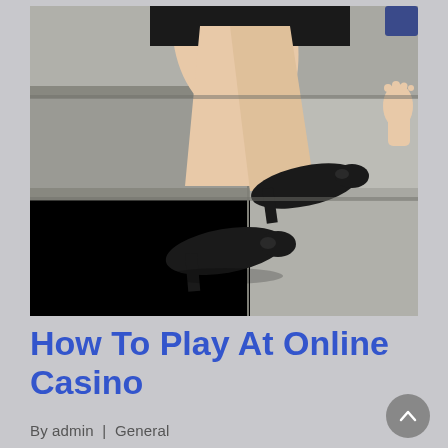[Figure (photo): A woman in a black skirt and black high heels sitting on stone steps, visible from the waist down. A baby's bare feet are visible at the right edge.]
How To Play At Online Casino
By admin  |  General